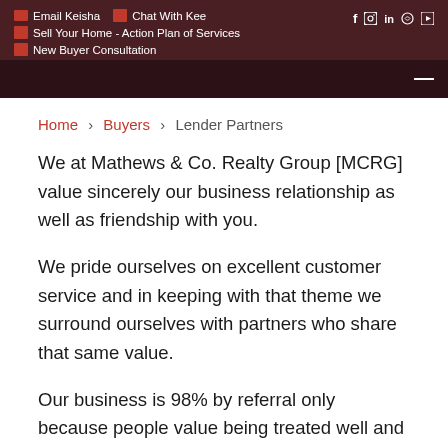Email Keisha  Chat With Kee  Sell Your Home - Action Plan of Services  New Buyer Consultation
Home > Buyers > Lender Partners
We at Mathews & Co. Realty Group [MCRG] value sincerely our business relationship as well as friendship with you.
We pride ourselves on excellent customer service and in keeping with that theme we surround ourselves with partners who share that same value.
Our business is 98% by referral only because people value being treated well and will refer their family and